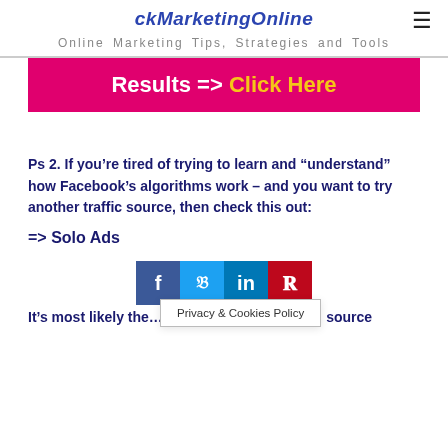ckMarketingOnline
Online Marketing Tips, Strategies and Tools
[Figure (infographic): Pink/magenta CTA banner reading 'Results => Click Here' with white and yellow text]
Ps 2. If you’re tired of trying to learn and “understand” how Facebook’s algorithms work – and you want to try another traffic source, then check this out:
=> Solo Ads
[Figure (infographic): Social share bar with Facebook, Twitter, LinkedIn, Pinterest buttons]
Privacy & Cookies Policy
It’s most likely the… source